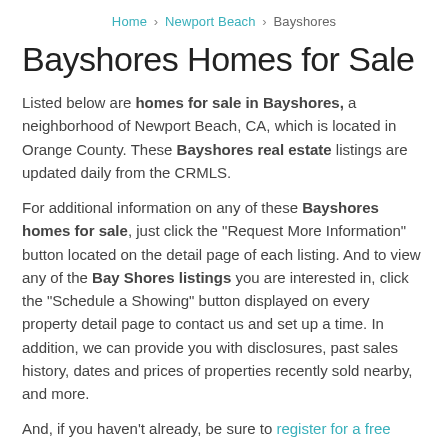Home > Newport Beach > Bayshores
Bayshores Homes for Sale
Listed below are homes for sale in Bayshores, a neighborhood of Newport Beach, CA, which is located in Orange County. These Bayshores real estate listings are updated daily from the CRMLS.
For additional information on any of these Bayshores homes for sale, just click the "Request More Information" button located on the detail page of each listing. And to view any of the Bay Shores listings you are interested in, click the "Schedule a Showing" button displayed on every property detail page to contact us and set up a time. In addition, we can provide you with disclosures, past sales history, dates and prices of properties recently sold nearby, and more.
And, if you haven't already, be sure to register for a free